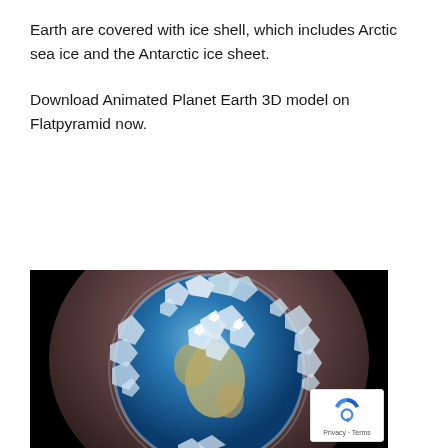Earth are covered with ice shell, which includes Arctic sea ice and the Antarctic ice sheet.
Download Animated Planet Earth 3D model on Flatpyramid now.
[Figure (illustration): 3D rendered globe of Earth covered with a jagged ice/crystal shell, shown against a dark background. The image is partially cut off at the bottom.]